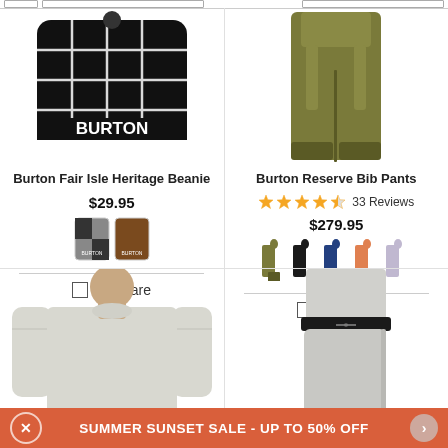[Figure (photo): Burton black and white checkered beanie hat product photo]
Burton Fair Isle Heritage Beanie
$29.95
[Figure (photo): Two color swatches for beanie - black/grey and brown]
Compare
[Figure (photo): Burton olive green bib pants product photo]
Burton Reserve Bib Pants
33 Reviews
$279.95
[Figure (photo): Five color swatches for bib pants - olive, black, navy, orange/pink, grey]
Compare
[Figure (photo): Man wearing grey long sleeve shirt product photo]
[Figure (photo): Man wearing grey pants product photo]
SUMMER SUNSET SALE - UP TO 50% OFF